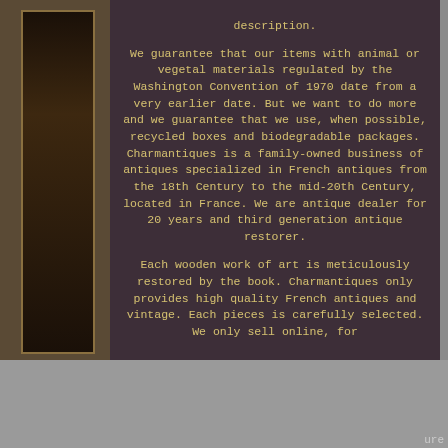description. We guarantee that our items with animal or vegetal materials regulated by the Washington Convention of 1970 date from a very earlier date. But we want to do more and we guarantee that we use, when possible, recycled boxes and biodegradable packages. Charmantiques is a family-owned business of antiques specialized in French antiques from the 18th Century to the mid-20th Century, located in France. We are antique dealer for 20 years and third generation antique restorer. Each wooden work of art is meticulously restored by the book. Charmantiques only provides high quality French antiques and vintage. Each pieces is carefully selected. We only sell online, for